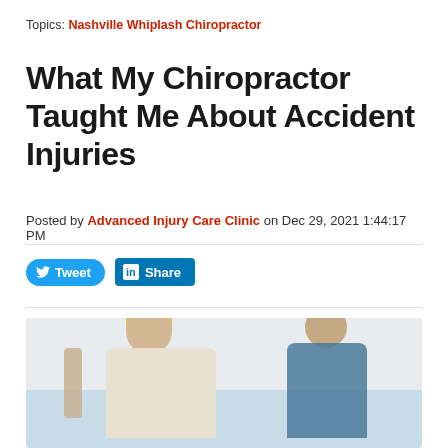Topics: Nashville Whiplash Chiropractor
What My Chiropractor Taught Me About Accident Injuries
Posted by Advanced Injury Care Clinic on Dec 29, 2021 1:44:17 PM
[Figure (other): Tweet and LinkedIn Share social media buttons]
[Figure (photo): Photo of a chiropractor (blonde woman in white coat) examining a seated male patient, placing hand on his head. A spine model visible on the left side.]